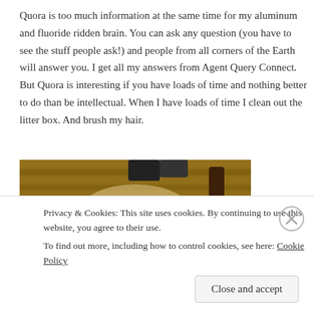Quora is too much information at the same time for my aluminum and fluoride ridden brain. You can ask any question (you have to see the stuff people ask!) and people from all corners of the Earth will answer you. I get all my answers from Agent Query Connect. But Quora is interesting if you have loads of time and nothing better to do than be intellectual. When I have loads of time I clean out the litter box. And brush my hair.
[Figure (photo): A black and white cat lying on its back on a striped rug on a hardwood floor, with furniture legs visible in the background.]
Privacy & Cookies: This site uses cookies. By continuing to use this website, you agree to their use.
To find out more, including how to control cookies, see here: Cookie Policy